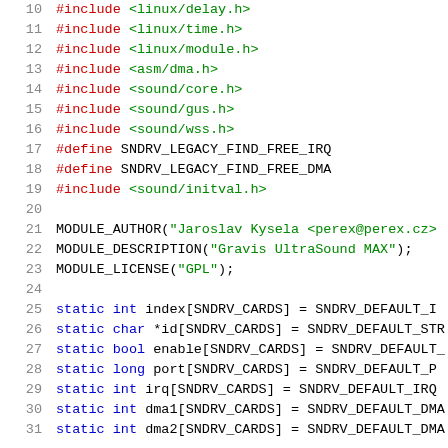[Figure (screenshot): Source code listing showing C preprocessor includes and module definitions for a Linux kernel sound driver (Gravis UltraSound MAX), lines 10-31]